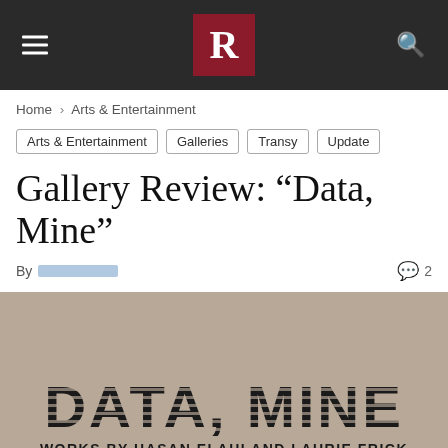R (logo) navigation bar with hamburger menu and search
Home › Arts & Entertainment
Arts & Entertainment
Galleries
Transy
Update
Gallery Review: “Data, Mine”
By [author] 💬 2
[Figure (photo): Exhibition signage reading 'DATA, MINE' in large striped block letters with subtitle 'WORKS BY HASAN ELAHI AND LAURIE FRICK' on a taupe/beige background]